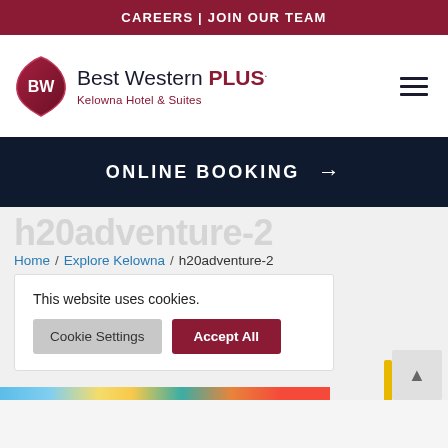CAREERS | JOIN OUR TEAM
[Figure (logo): Best Western PLUS logo with BW diamond emblem and text 'Best Western PLUS. Kelowna Hotel & Suites']
ONLINE BOOKING →
h20adventure-2
Home / Explore Kelowna / h20adventure-2
This website uses cookies.
Cookie Settings   Accept All